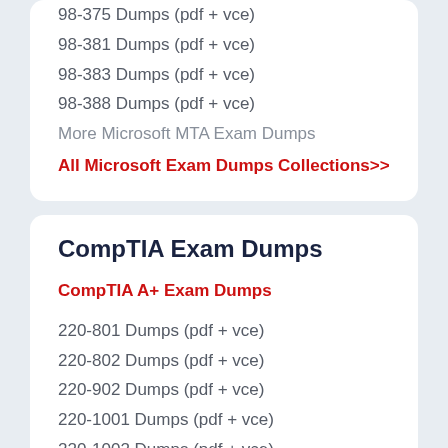98-375 Dumps (pdf + vce)
98-381 Dumps (pdf + vce)
98-383 Dumps (pdf + vce)
98-388 Dumps (pdf + vce)
More Microsoft MTA Exam Dumps
All Microsoft Exam Dumps Collections>>
CompTIA Exam Dumps
CompTIA A+ Exam Dumps
220-801 Dumps (pdf + vce)
220-802 Dumps (pdf + vce)
220-902 Dumps (pdf + vce)
220-1001 Dumps (pdf + vce)
220-1002 Dumps (pdf + vce)
JK0-801 Dumps (pdf + vce)
JK0-802 Dumps (pdf + vce)